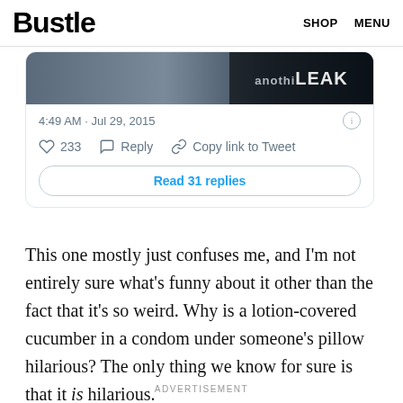Bustle  SHOP  MENU
[Figure (screenshot): Embedded tweet card showing a cropped image at top with dark overlay and 'LEAK' text, timestamp '4:49 AM · Jul 29, 2015', like count 233, Reply and Copy link to Tweet actions, and a 'Read 31 replies' button]
This one mostly just confuses me, and I'm not entirely sure what's funny about it other than the fact that it's so weird. Why is a lotion-covered cucumber in a condom under someone's pillow hilarious? The only thing we know for sure is that it is hilarious.
ADVERTISEMENT